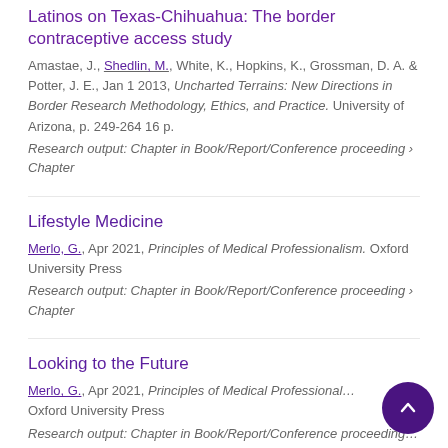Latinos on Texas-Chihuahua: The border contraceptive access study
Amastae, J., Shedlin, M., White, K., Hopkins, K., Grossman, D. A. & Potter, J. E., Jan 1 2013, Uncharted Terrains: New Directions in Border Research Methodology, Ethics, and Practice. University of Arizona, p. 249-264 16 p.
Research output: Chapter in Book/Report/Conference proceeding › Chapter
Lifestyle Medicine
Merlo, G., Apr 2021, Principles of Medical Professionalism. Oxford University Press
Research output: Chapter in Book/Report/Conference proceeding › Chapter
Looking to the Future
Merlo, G., Apr 2021, Principles of Medical Professionalism. Oxford University Press
Research output: Chapter in Book/Report/Conference proceeding › Chapter